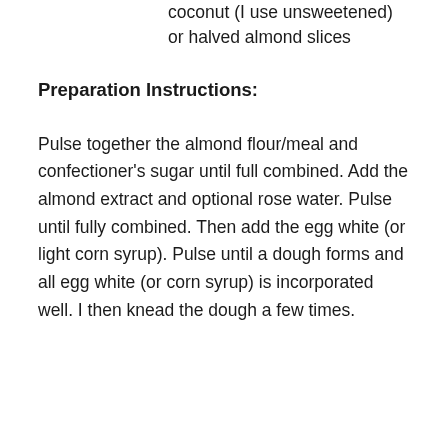coconut (I use unsweetened) or halved almond slices
Preparation Instructions:
Pulse together the almond flour/meal and confectioner's sugar until full combined. Add the almond extract and optional rose water. Pulse until fully combined. Then add the egg white (or light corn syrup). Pulse until a dough forms and all egg white (or corn syrup) is incorporated well. I then knead the dough a few times.